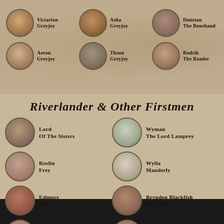[Figure (organizational-chart): Grid of circular character portraits (top section) showing: Victarion Greyjoy, Asha Greyjoy, Dunstan the Bonehand, Aeron Greyjoy, Theon Greyjoy, Rodrik the Reader]
Riverlander & Other Firstmen
[Figure (organizational-chart): Grid of circular character portraits (bottom section) showing: Lord of the Sisters, Wyman the Lord Lamprey, Roslin Frey, Wylla Manderly, Edmure Tully, Brynden Blackfish of Tully, Catelyn Tully, Tytos Blackwood]